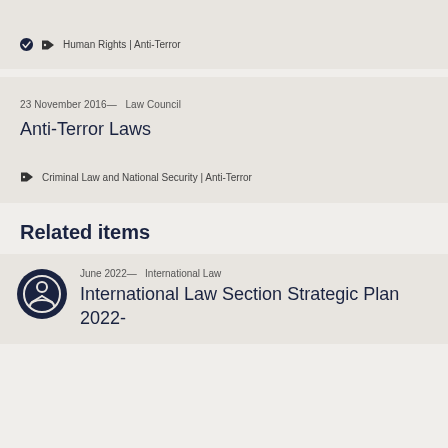Human Rights | Anti-Terror
23 November 2016— Law Council
Anti-Terror Laws
Criminal Law and National Security | Anti-Terror
Related items
June 2022— International Law
International Law Section Strategic Plan 2022-